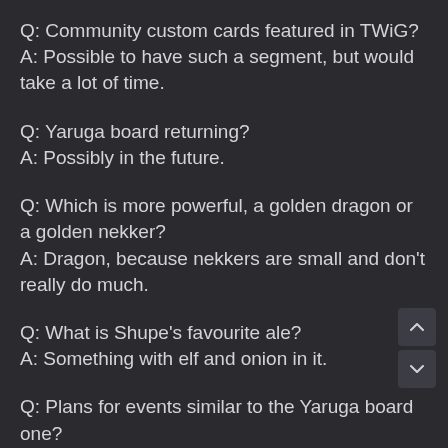Q: Community custom cards featured in TWiG?
A: Possible to have such a segment, but would take a lot of time.
Q: Yaruga board returning?
A: Possibly in the future.
Q: Which is more powerful, a golden dragon or a golden nekker?
A: Dragon, because nekkers are small and don't really do much.
Q: What is Shupe's favourite ale?
A: Something with elf and onion in it.
Q: Plans for events similar to the Yaruga board one?
A: Possibly